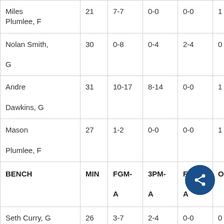| PLAYER | MIN | FGM-A | 3PM-A | FTM-A | ORE... |
| --- | --- | --- | --- | --- | --- |
| Miles Plumlee, F | 21 | 7-7 | 0-0 | 0-0 | 1 |
| Nolan Smith, G | 30 | 0-8 | 0-4 | 2-4 | 0 |
| Andre Dawkins, G | 31 | 10-17 | 8-14 | 0-0 | 1 |
| Mason Plumlee, F | 27 | 1-2 | 0-0 | 0-0 | 1 |
| BENCH | MIN | FGM-A | 3PM-A | FTM-A | ORE |
| Seth Curry, G | 26 | 3-7 | 2-4 | 0-0 | 0 |